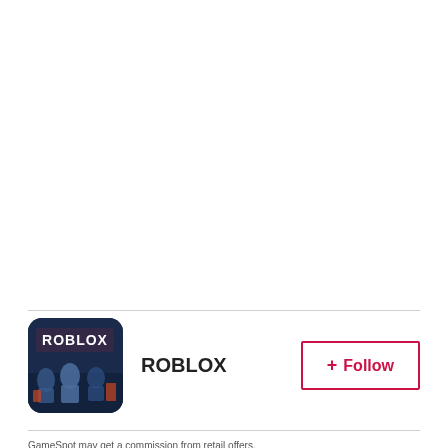[Figure (logo): Roblox game icon — dark blue background with Roblox logo text and character artwork]
ROBLOX
+ Follow
GameSpot may get a commission from retail offers.